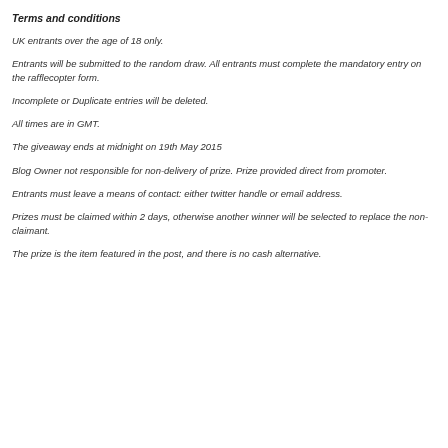Terms and conditions
UK entrants over the age of 18 only.
Entrants will be submitted to the random draw. All entrants must complete the mandatory entry on the rafflecopter form.
Incomplete or Duplicate entries will be deleted.
All times are in GMT.
The giveaway ends at midnight on 19th May 2015
Blog Owner not responsible for non-delivery of prize. Prize provided direct from promoter.
Entrants must leave a means of contact: either twitter handle or email address.
Prizes must be claimed within 2 days, otherwise another winner will be selected to replace the non-claimant.
The prize is the item featured in the post, and there is no cash alternative.